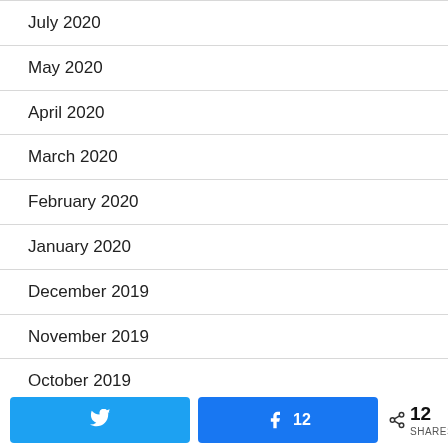July 2020
May 2020
April 2020
March 2020
February 2020
January 2020
December 2019
November 2019
October 2019
September 2019
Twitter share button, Facebook share button with 12 likes, Share icon with 12 SHARES